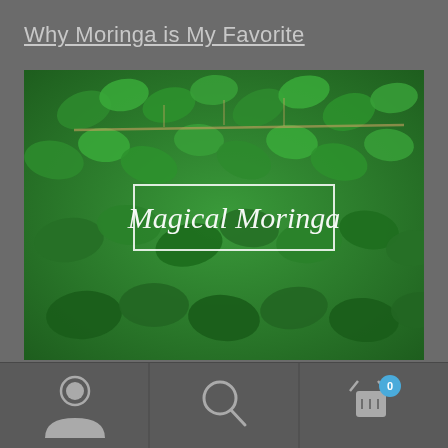Why Moringa is My Favorite
[Figure (photo): Photo of moringa leaves (green foliage) with a white-bordered box overlay reading 'Magical Moringa' in italic white script text]
FREE SHIPPING IN USA!!
Dismiss
[Figure (infographic): Bottom navigation bar with person/account icon, search icon, and shopping cart icon with badge showing 0]